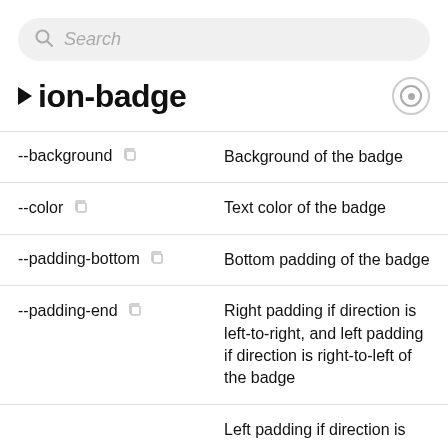[Figure (screenshot): Search bar with magnifying glass icon and italic placeholder text 'Search']
ion-badge
| Property | Description |
| --- | --- |
| --background | Background of the badge |
| --color | Text color of the badge |
| --padding-bottom | Bottom padding of the badge |
| --padding-end | Right padding if direction is left-to-right, and left padding if direction is right-to-left of the badge |
| --padding-start | Left padding if direction is |